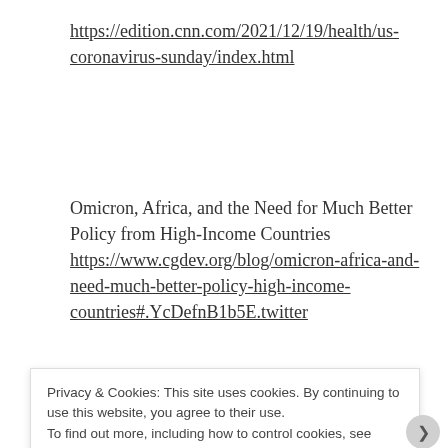https://edition.cnn.com/2021/12/19/health/us-coronavirus-sunday/index.html
Omicron, Africa, and the Need for Much Better Policy from High-Income Countries https://www.cgdev.org/blog/omicron-africa-and-need-much-better-policy-high-income-countries#.YcDefnB1b5E.twitter
Privacy & Cookies: This site uses cookies. By continuing to use this website, you agree to their use.
To find out more, including how to control cookies, see here: Cookie Policy